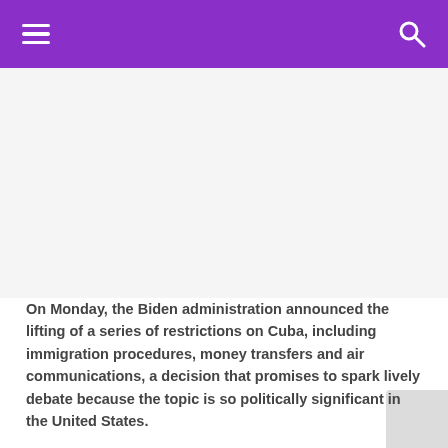Navigation header with hamburger menu and search icon
[Figure (other): Advertisement placeholder area, light gray background]
On Monday, the Biden administration announced the lifting of a series of restrictions on Cuba, including immigration procedures, money transfers and air communications, a decision that promises to spark lively debate because the topic is so politically significant in the United States.
Read also: Cuba: the authorities recognize the great shortage of medicines
Read also: A typical Cuban T-shirt short cut